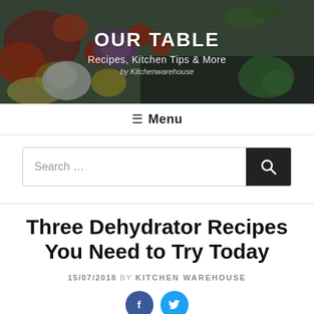[Figure (photo): Header banner with food/vegetables photo background including tomatoes, broccoli, onion, greens on a dark tray]
OUR TABLE
Recipes, Kitchen Tips & More
by Kitchenwarehouse
≡ Menu
[Figure (other): Search bar with text input field and dark search button with magnifying glass icon]
Three Dehydrator Recipes You Need to Try Today
15/07/2018 BY KITCHEN WAREHOUSE
[Figure (other): Social share buttons: Facebook (blue circle with f) and Twitter (cyan circle with bird)]